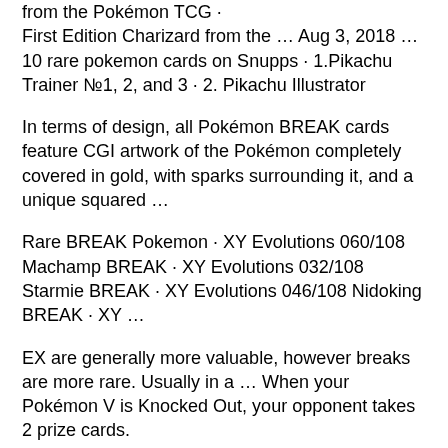from the Pokémon TCG ·
First Edition Charizard from the … Aug 3, 2018 … 10 rare pokemon cards on Snupps · 1.Pikachu Trainer №1, 2, and 3 · 2. Pikachu Illustrator
In terms of design, all Pokémon BREAK cards feature CGI artwork of the Pokémon completely covered in gold, with sparks surrounding it, and a unique squared …
Rare BREAK Pokemon · XY Evolutions 060/108 Machamp BREAK · XY Evolutions 032/108 Starmie BREAK · XY Evolutions 046/108 Nidoking BREAK · XY …
EX are generally more valuable, however breaks are more rare. Usually in a … When your Pokémon V is Knocked Out, your opponent takes 2 prize cards.
Results 1 – 48 of 98072 … Great deals on Pokemon Break Pokémon TCG Ultra Rare Individual collectible card game Cards. Expand your options of fun home ...